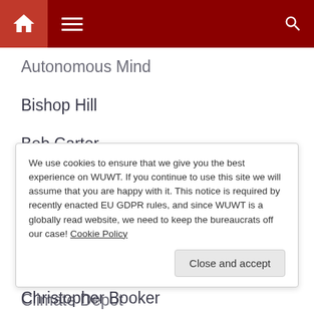[Figure (screenshot): Website navigation bar with home icon, hamburger menu, and search icon on dark red background]
Autonomous Mind
Bishop Hill
Bob Carter
C3 Headlines
Carlin Economics
Cartoons By Josh
Christopher Booker
Climate Abyss – John Nielsen-Gammon
We use cookies to ensure that we give you the best experience on WUWT. If you continue to use this site we will assume that you are happy with it. This notice is required by recently enacted EU GDPR rules, and since WUWT is a globally read website, we need to keep the bureaucrats off our case! Cookie Policy
Climate Depot